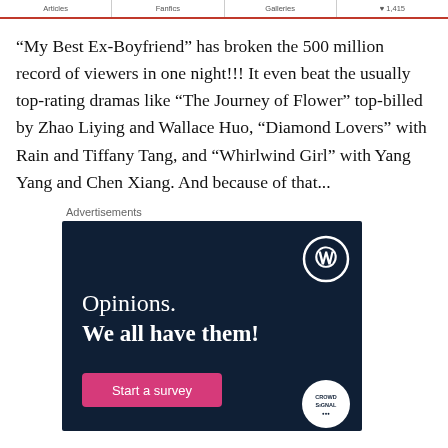Articles | Fanfics | Galleries | ♥ 1,415
“My Best Ex-Boyfriend” has broken the 500 million record of viewers in one night!!! It even beat the usually top-rating dramas like “The Journey of Flower” top-billed by Zhao Liying and Wallace Huo, “Diamond Lovers” with Rain and Tiffany Tang, and “Whirlwind Girl” with Yang Yang and Chen Xiang. And because of that...
Advertisements
[Figure (other): WordPress advertisement banner with dark navy background showing WordPress logo, text 'Opinions. We all have them!', pink 'Start a survey' button, and CrowdSignal logo]